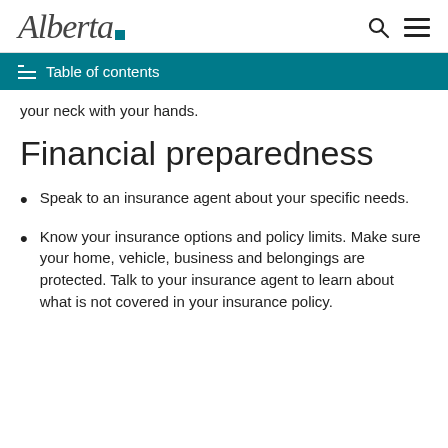Alberta [logo with teal square]
Table of contents
your neck with your hands.
Financial preparedness
Speak to an insurance agent about your specific needs.
Know your insurance options and policy limits. Make sure your home, vehicle, business and belongings are protected. Talk to your insurance agent to learn about what is not covered in your insurance policy.